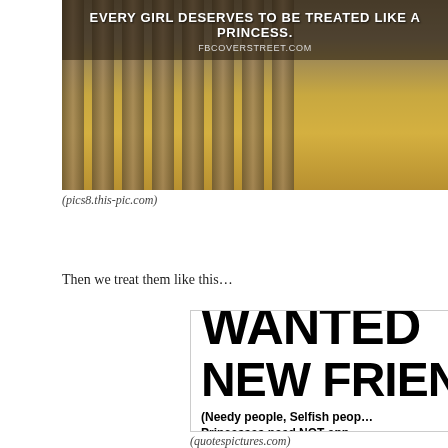[Figure (photo): Photo of a person in a golden/yellow dress near pillars with overlaid text: 'EVERY GIRL DESERVES TO BE TREATED LIKE A PRINCESS.' and 'FBCOVERSTREET.COM']
(pics8.this-pic.com)
Then we treat them like this…
[Figure (photo): Image with bold black text on white background: 'WANTED NEW FRIENDS (Needy people, Selfish people... Princesses need NOT apply)']
(quotespictures.com)